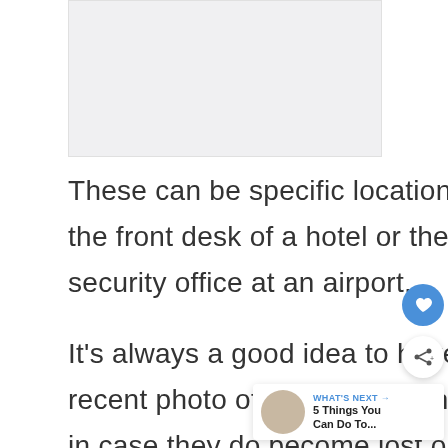[Figure (photo): Light gray placeholder image area at top of page]
These can be specific locations like the front desk of a hotel or the security office at an airport.
It's always a good idea to have a recent photo of your child with you in case they do become lost or separated from you.